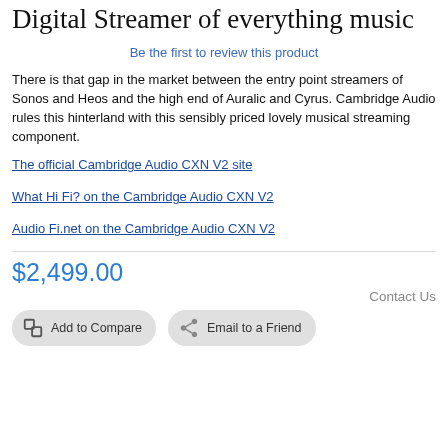Digital Streamer of everything music
Be the first to review this product
There is that gap in the market between the entry point streamers of Sonos and Heos and the high end of Auralic and Cyrus. Cambridge Audio rules this hinterland with this sensibly priced lovely musical streaming component.
The official Cambridge Audio CXN V2 site
What Hi Fi? on the Cambridge Audio CXN V2
Audio Fi.net on the Cambridge Audio CXN V2
$2,499.00
Contact Us
Add to Compare
Email to a Friend